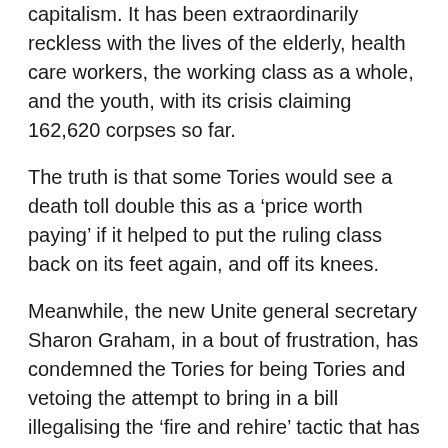capitalism. It has been extraordinarily reckless with the lives of the elderly, health care workers, the working class as a whole, and the youth, with its crisis claiming 162,620 corpses so far.
The truth is that some Tories would see a death toll double this as a ‘price worth paying’ if it helped to put the ruling class back on its feet again, and off its knees.
Meanwhile, the new Unite general secretary Sharon Graham, in a bout of frustration, has condemned the Tories for being Tories and vetoing the attempt to bring in a bill illegalising the ‘fire and rehire’ tactic that has become the main weapon of the bosses.
She has declared: ‘The antics of the Conservative Party today have been a disgrace’ – even she must have known that this was going to happen.
She complained: ‘They say one thing but do another’